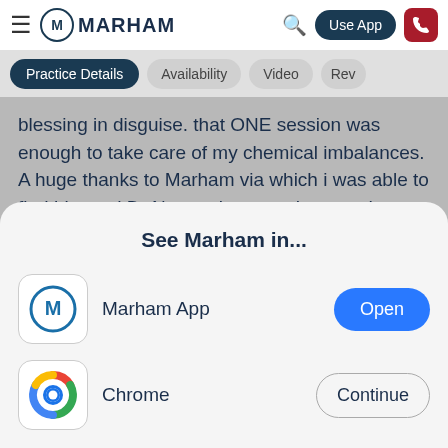MARHAM — Use App
Practice Details  Availability  Video  Rev
blessing in disguise. that ONE session was enough to take care of my chemical imbalances. A huge thanks to Marham via which i was able to find him and Dr Naeem because he saved me when i was at my lowest. I would HIGHLY RECOMMEND him
Patient Feedback:
See Marham in...
Marham App
Chrome